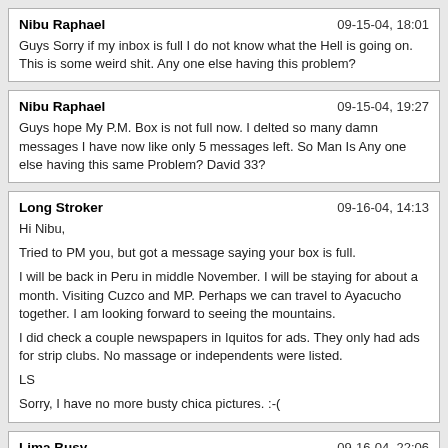Nibu Raphael | 09-15-04, 18:01
Guys Sorry if my inbox is full I do not know what the Hell is going on. This is some weird shit. Any one else having this problem?
Nibu Raphael | 09-15-04, 19:27
Guys hope My P.M. Box is not full now. I delted so many damn messages I have now like only 5 messages left. So Man Is Any one else having this same Problem? David 33?
Long Stroker | 09-16-04, 14:13
Hi Nibu,
Tried to PM you, but got a message saying your box is full.
I will be back in Peru in middle November. I will be staying for about a month. Visiting Cuzco and MP. Perhaps we can travel to Ayacucho together. I am looking forward to seeing the mountains.
I did check a couple newspapers in Iquitos for ads. They only had ads for strip clubs. No massage or independents were listed.
LS
Sorry, I have no more busty chica pictures. :-(
Lima Busy | 09-16-04, 22:06
Nibu,
If you don't mind company myself and another monger would like to hook up